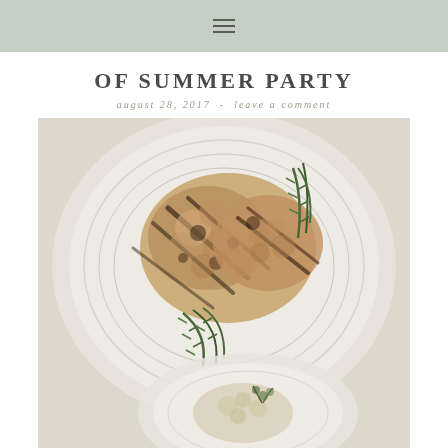☰
OF SUMMER PARTY
august 28, 2017 · leave a comment
[Figure (photo): Overhead view of a white plate with grilled cauliflower steaks garnished with fresh rosemary sprigs, and a smaller plate below with cauliflower and herbs, on a light background.]